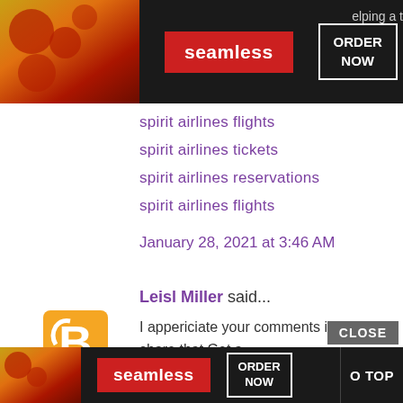[Figure (screenshot): Seamless food ordering advertisement banner at top, dark background with pizza image, red Seamless button, ORDER NOW button]
spirit airlines flights
spirit airlines tickets
spirit airlines reservations
spirit airlines flights
January 28, 2021 at 3:46 AM
Leisl Miller said...
I appericiate your comments i want to share that Get a booking at , the brisk and proficient helpline helping a l...
spirit airlines reservations
spirit airlines flights
spirit airlines tickets
spirit airlines reservations
[Figure (screenshot): Seamless food ordering advertisement banner at bottom with CLOSE button and GO TO TOP button overlay]